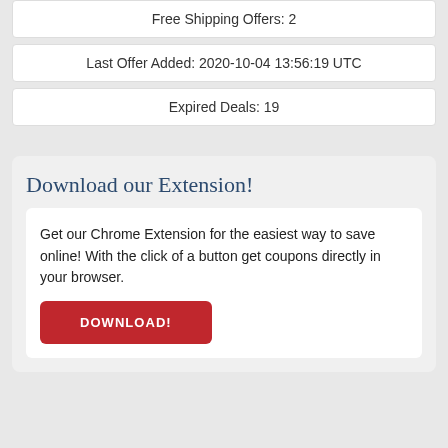Free Shipping Offers: 2
Last Offer Added: 2020-10-04 13:56:19 UTC
Expired Deals: 19
Download our Extension!
Get our Chrome Extension for the easiest way to save online! With the click of a button get coupons directly in your browser.
DOWNLOAD!